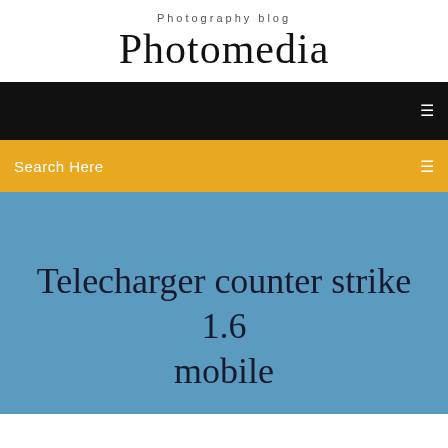Photography blog
Photomedia
[Figure (screenshot): Black navigation bar with a white menu icon on the right]
Search Here
Telecharger counter strike 1.6 mobile